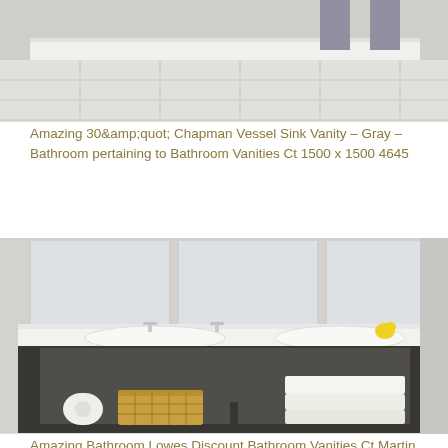[Figure (photo): Top portion of a bathroom vanity with gray tile floor visible, cropped at top of page]
Amazing 30&amp;quot; Chapman Vessel Sink Vanity – Gray – Bathroom pertaining to Bathroom Vanities Ct 1500 x 1500 4645
[Figure (photo): A bathroom vanity with dark wood open shelf base, white countertop with integrated double sinks, chrome faucets, large mirror above, folded white towels and a wicker basket with toilet paper on the shelf below, white tile floor, rubber duck on counter]
Amazing Bathroom Lowes Discount Bathroom Vanities Ct Martin